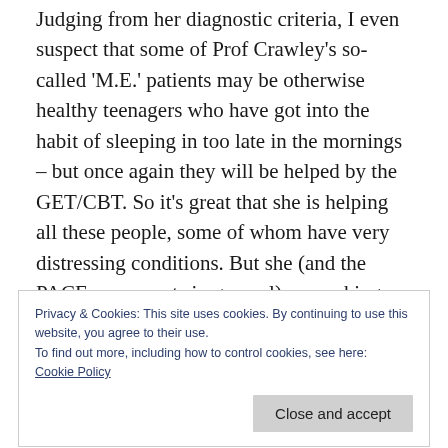Judging from her diagnostic criteria, I even suspect that some of Prof Crawley's so-called 'M.E.' patients may be otherwise healthy teenagers who have got into the habit of sleeping in too late in the mornings – but once again they will be helped by the GET/CBT. So it's great that she is helping all these people, some of whom have very distressing conditions. But she (and the PACE proponents in general) are making no proper attempt to distinguish between these and the patients
Privacy & Cookies: This site uses cookies. By continuing to use this website, you agree to their use.
To find out more, including how to control cookies, see here:
Cookie Policy
abnormal physical responses to exercise, so